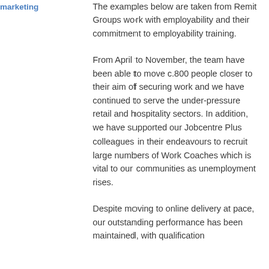marketing
The examples below are taken from Remit Groups work with employability and their commitment to employability training.
From April to November, the team have been able to move c.800 people closer to their aim of securing work and we have continued to serve the under-pressure retail and hospitality sectors. In addition, we have supported our Jobcentre Plus colleagues in their endeavours to recruit large numbers of Work Coaches which is vital to our communities as unemployment rises.
Despite moving to online delivery at pace, our outstanding performance has been maintained, with qualification